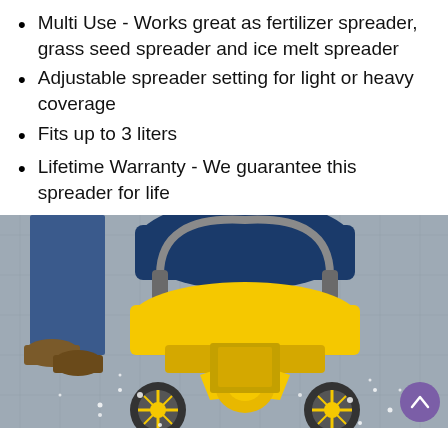Multi Use - Works great as fertilizer spreader, grass seed spreader and ice melt spreader
Adjustable spreader setting for light or heavy coverage
Fits up to 3 liters
Lifetime Warranty - We guarantee this spreader for life
[Figure (photo): A yellow and blue fertilizer/ice melt spreader being pushed on a wet surface, with a person's legs visible in the background. The spreader has large wheels and a yellow base with a blue hopper.]